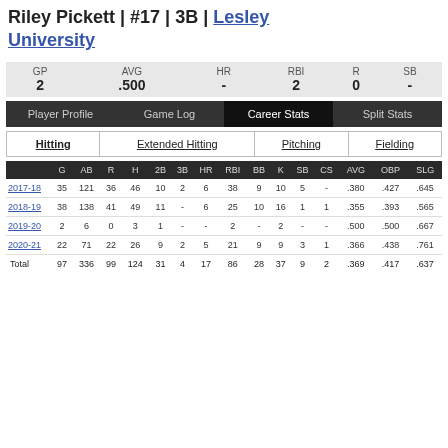Riley Pickett | #17 | 3B | Lesley University
| GP | AVG | HR | RBI | R | SB |
| --- | --- | --- | --- | --- | --- |
| 2 | .500 | - | 2 | 0 | - |
Player Profile | Game Log | Career Stats | Split Stats
Hitting | Extended Hitting | Pitching | Fielding
|  | G | AB | R | H | 2B | 3B | HR | RBI | BB | K | SB | CS | AVG | OBP | SLG |
| --- | --- | --- | --- | --- | --- | --- | --- | --- | --- | --- | --- | --- | --- | --- | --- |
| 2017-18 | 35 | 121 | 36 | 46 | 10 | 2 | 6 | 38 | 9 | 10 | 5 | - | .380 | .427 | .645 |
| 2018-19 | 38 | 138 | 41 | 49 | 11 | - | 6 | 25 | 10 | 16 | 1 | 1 | .355 | .393 | .565 |
| 2019-20 | 2 | 6 | 0 | 3 | 1 | - | - | 2 | - | 2 | - | - | .500 | .500 | .667 |
| 2020-21 | 22 | 71 | 22 | 26 | 9 | 2 | 5 | 21 | 9 | 9 | 3 | 1 | .366 | .438 | .761 |
| Total | 97 | 336 | 99 | 124 | 31 | 4 | 17 | 86 | 28 | 37 | 9 | 2 | .369 | .417 | .637 |